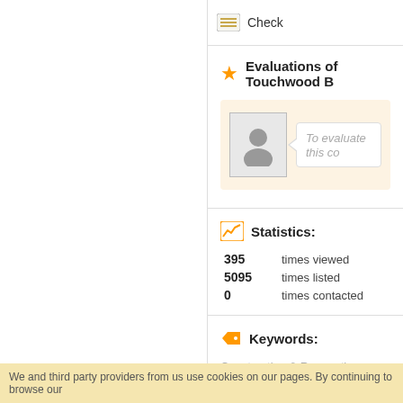[Figure (screenshot): Check button icon with horizontal lines]
Check
Evaluations of Touchwood B
To evaluate this co
Statistics:
395  times viewed
5095  times listed
0  times contacted
Keywords:
Construction & Renovation, Desig Dublin, attic Conversions Dublin,
We and third party providers from us use cookies on our pages. By continuing to browse our